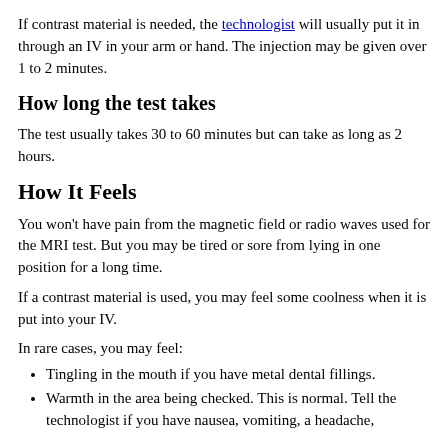If contrast material is needed, the technologist will usually put it in through an IV in your arm or hand. The injection may be given over 1 to 2 minutes.
How long the test takes
The test usually takes 30 to 60 minutes but can take as long as 2 hours.
How It Feels
You won't have pain from the magnetic field or radio waves used for the MRI test. But you may be tired or sore from lying in one position for a long time.
If a contrast material is used, you may feel some coolness when it is put into your IV.
In rare cases, you may feel:
Tingling in the mouth if you have metal dental fillings.
Warmth in the area being checked. This is normal. Tell the technologist if you have nausea, vomiting, a headache,